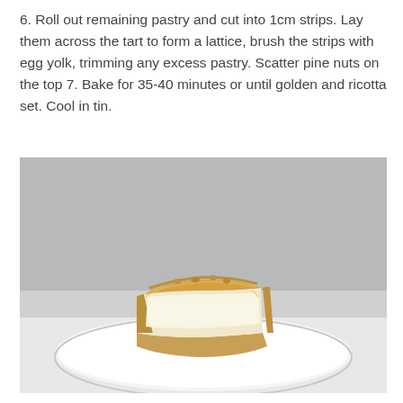6. Roll out remaining pastry and cut into 1cm strips. Lay them across the tart to form a lattice, brush the strips with egg yolk, trimming any excess pastry. Scatter pine nuts on the top 7. Bake for 35-40 minutes or until golden and ricotta set. Cool in tin.
[Figure (photo): A slice of ricotta tart with a golden pastry crust and lattice top, showing a creamy white ricotta filling, sitting on a round white plate against a grey and white background.]